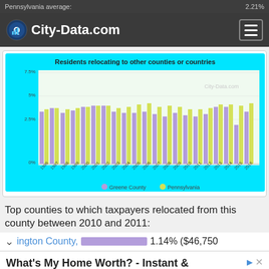City-Data.com
[Figure (grouped-bar-chart): Residents relocating to other counties or countries]
Top counties to which taxpayers relocated from this county between 2010 and 2011:
ington County, 1.14% ($46,750
What's My Home Worth? - Instant & Free Home Valuuation
Get A Comprehensive Report In Seconds. We Have Thousands Of Active DC Metro Home Buyers. kerishull.com